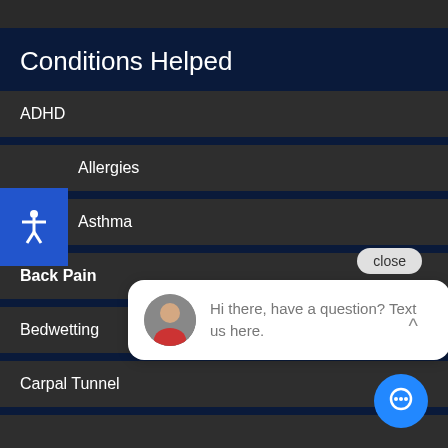Conditions Helped
ADHD
Allergies
Asthma
Back Pain
Bedwetting
Carpal Tunnel
Hi there, have a question? Text us here.